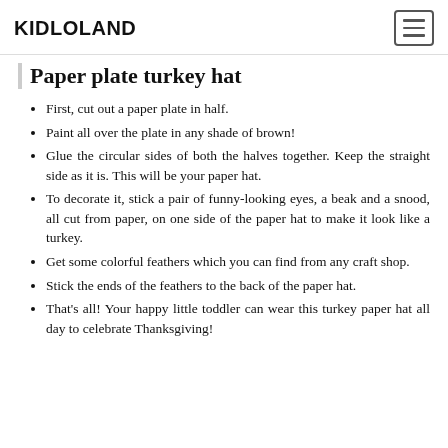KIDLOLAND
Paper plate turkey hat
First, cut out a paper plate in half.
Paint all over the plate in any shade of brown!
Glue the circular sides of both the halves together. Keep the straight side as it is. This will be your paper hat.
To decorate it, stick a pair of funny-looking eyes, a beak and a snood, all cut from paper, on one side of the paper hat to make it look like a turkey.
Get some colorful feathers which you can find from any craft shop.
Stick the ends of the feathers to the back of the paper hat.
That's all! Your happy little toddler can wear this turkey paper hat all day to celebrate Thanksgiving!